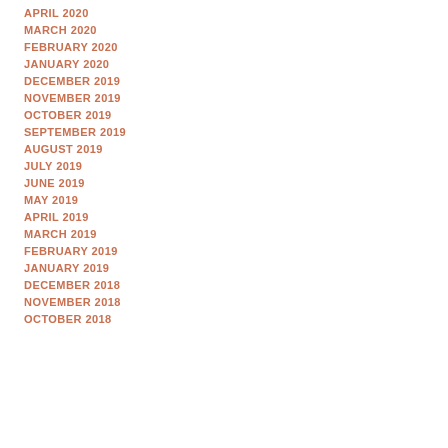APRIL 2020
MARCH 2020
FEBRUARY 2020
JANUARY 2020
DECEMBER 2019
NOVEMBER 2019
OCTOBER 2019
SEPTEMBER 2019
AUGUST 2019
JULY 2019
JUNE 2019
MAY 2019
APRIL 2019
MARCH 2019
FEBRUARY 2019
JANUARY 2019
DECEMBER 2018
NOVEMBER 2018
OCTOBER 2018